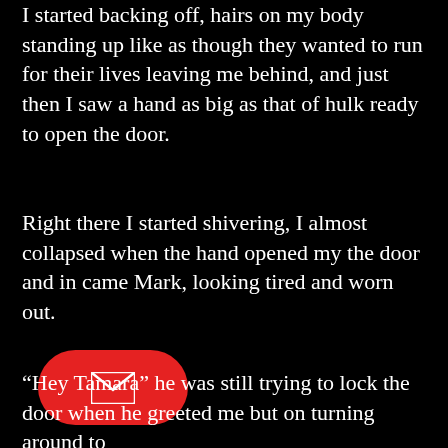I started backing off, hairs on my body standing up like as though they wanted to run for their lives leaving me behind, and just then I saw a hand as big as that of hulk ready to open the door.
Right there I started shivering, I almost collapsed when the hand opened my the door and in came Mark, looking tired and worn out.
[Figure (other): Red rounded rectangle button with a white envelope/mail icon in the center]
“Hey Tamara” he was still trying to lock the door when he greeted me but on turning around to